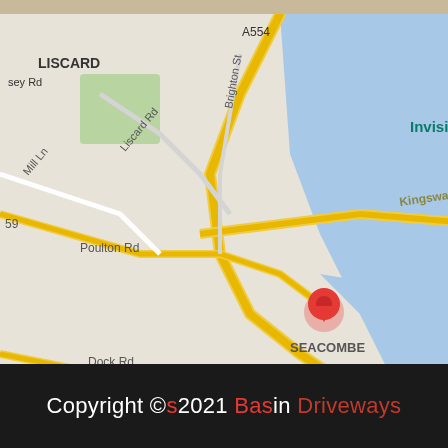[Figure (map): Google Maps view of Seacombe, Wirral/Liverpool area showing roads including A554, A5030, Kingsway Tunnel, Dock Rd, Poulton Rd, Liscard Rd, Brighton St, Mill Ln, Park Rd N, landmarks including Invisible Wind Factory, Museum of Liverpool, Royal Albert Dock Liverpool, Wirral Transport Museum & Heritage, Birkenhead Park. A red location pin is placed at Seacombe area.]
Copyright © 2021 Basin Driveways